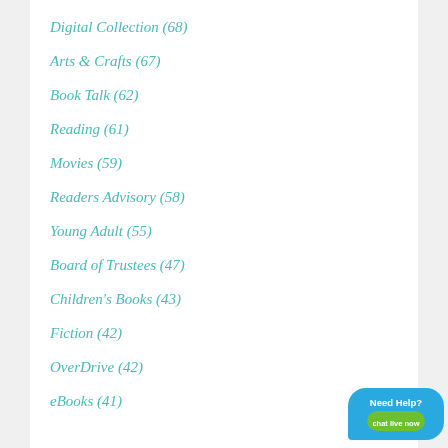Digital Collection (68)
Arts & Crafts (67)
Book Talk (62)
Reading (61)
Movies (59)
Readers Advisory (58)
Young Adult (55)
Board of Trustees (47)
Children's Books (43)
Fiction (42)
OverDrive (42)
eBooks (41)